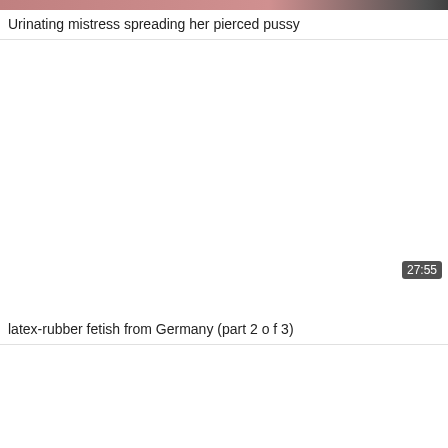Urinating mistress spreading her pierced pussy
[Figure (screenshot): Video thumbnail placeholder (white/blank) with duration badge 27:55]
latex-rubber fetish from Germany (part 2 o f 3)
[Figure (screenshot): Video thumbnail placeholder (white/blank), partial view]